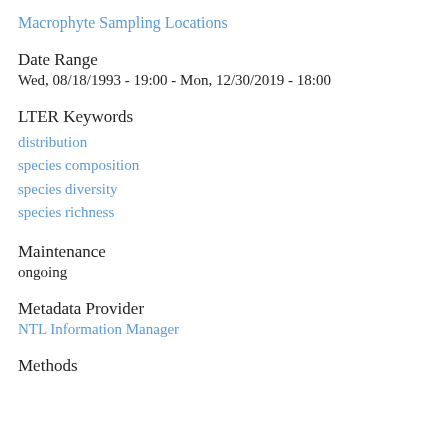Macrophyte Sampling Locations
Date Range
Wed, 08/18/1993 - 19:00 - Mon, 12/30/2019 - 18:00
LTER Keywords
distribution
species composition
species diversity
species richness
Maintenance
ongoing
Metadata Provider
NTL Information Manager
Methods